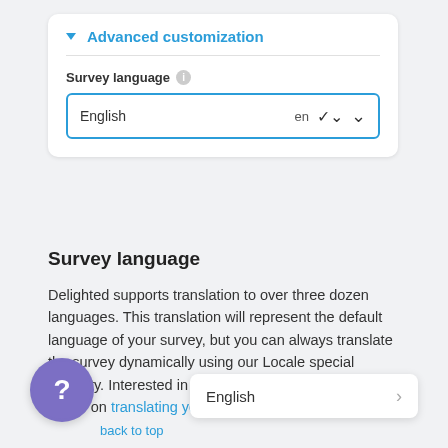Advanced customization
Survey language
[Figure (screenshot): Dropdown select box showing 'English' with 'en' label and a dropdown chevron, styled with a blue border]
Survey language
Delighted supports translation to over three dozen languages. This translation will represent the default language of your survey, but you can always translate the survey dynamically using our Locale special property. Interested in learning more? Check out this article on translating your survey.
[Figure (screenshot): Floating help button (purple circle with '?') and a dropdown popup showing 'English' with a right chevron arrow]
back to top